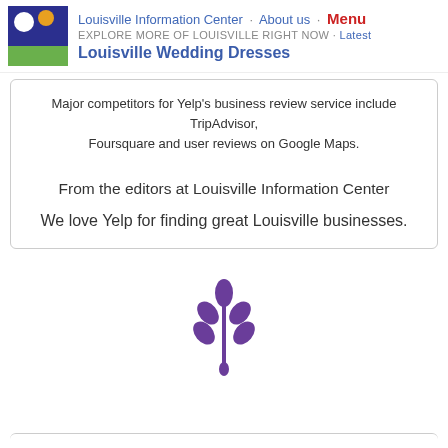Louisville Information Center · About us · Menu
EXPLORE MORE OF LOUISVILLE RIGHT NOW · Latest
Louisville Wedding Dresses
Major competitors for Yelp's business review service include TripAdvisor, Foursquare and user reviews on Google Maps.
From the editors at Louisville Information Center
We love Yelp for finding great Louisville businesses.
[Figure (illustration): Purple stylized wheat/plant leaf icon]